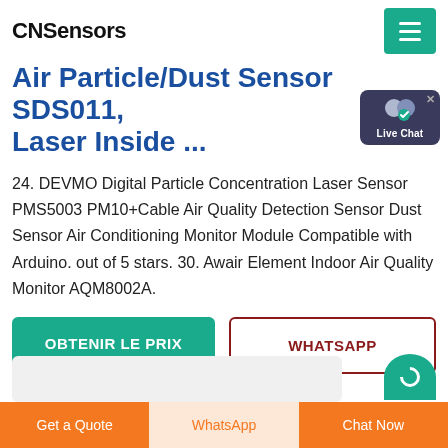CNSensors
Air Particle/Dust Sensor SDS011, Laser Inside ...
24. DEVMO Digital Particle Concentration Laser Sensor PMS5003 PM10+Cable Air Quality Detection Sensor Dust Sensor Air Conditioning Monitor Module Compatible with Arduino. out of 5 stars. 30. Awair Element Indoor Air Quality Monitor AQM8002A.
OBTENIR LE PRIX
WHATSAPP
Get a Quote   WhatsApp   Chat Now